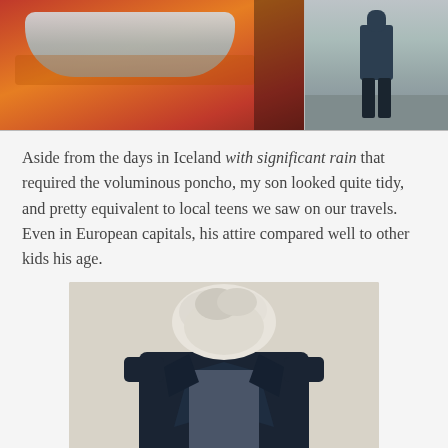[Figure (photo): Two photos side by side at top: left photo shows sleeping bag or gear on orange/red background; right photo shows a person standing outdoors on a road/path]
Aside from the days in Iceland with significant rain that required the voluminous poncho, my son looked quite tidy, and pretty equivalent to local teens we saw on our travels. Even in European capitals, his attire compared well to other kids his age.
[Figure (photo): Photo of a young person wearing a dark navy coat/jacket with hoodie underneath, face obscured/blurred for privacy, standing against a light beige wall]